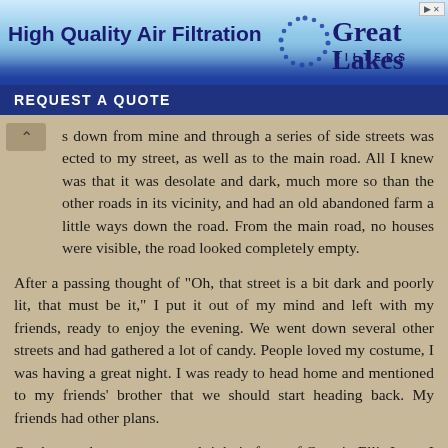[Figure (other): Advertisement banner for Great Lakes Filters - High Quality Air Filtration with REQUEST A QUOTE button]
s down from mine and through a series of side streets was ected to my street, as well as to the main road. All I knew was that it was desolate and dark, much more so than the other roads in its vicinity, and had an old abandoned farm a little ways down the road. From the main road, no houses were visible, the road looked completely empty.
After a passing thought of "Oh, that street is a bit dark and poorly lit, that must be it," I put it out of my mind and left with my friends, ready to enjoy the evening. We went down several other streets and had gathered a lot of candy. People loved my costume, I was having a great night. I was ready to head home and mentioned to my friends' brother that we should start heading back. My friends had other plans.
On the way home, we stopped right in front of Captain Ellis Lane. I was perfectly content not going down the road but my friends all said "What are you waiting for? Are we going or not?"
"NO, no, we cannot, did you not hear what Jenny's mom said? We are not supposed to go down this road!" I exclaimed. But by